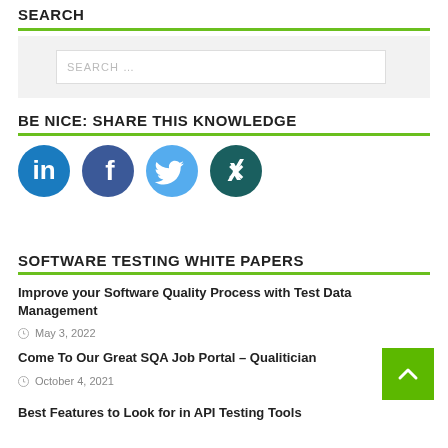SEARCH
[Figure (screenshot): Search input box with placeholder text SEARCH ...]
BE NICE: SHARE THIS KNOWLEDGE
[Figure (infographic): Four social media icons: LinkedIn (blue), Facebook (dark blue), Twitter (light blue), Xing (teal)]
SOFTWARE TESTING WHITE PAPERS
Improve your Software Quality Process with Test Data Management
May 3, 2022
Come To Our Great SQA Job Portal – Qualitician
October 4, 2021
Best Features to Look for in API Testing Tools